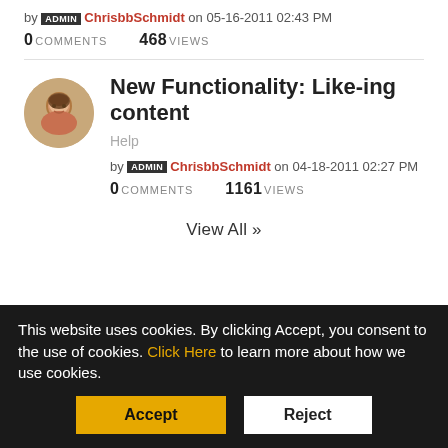by ADMIN ChrisbbSchmidt on 05-16-2011 02:43 PM
0 COMMENTS   468 VIEWS
New Functionality: Like-ing content
Help
by ADMIN ChrisbbSchmidt on 04-18-2011 02:27 PM
0 COMMENTS   1161 VIEWS
View All >>
Last Tagged
This website uses cookies. By clicking Accept, you consent to the use of cookies. Click Here to learn more about how we use cookies.